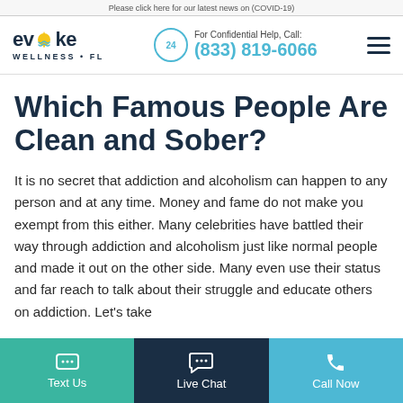Please click here for our latest news on (COVID-19)
evoke WELLNESS · FL | For Confidential Help, Call: (833) 819-6066
Which Famous People Are Clean and Sober?
It is no secret that addiction and alcoholism can happen to any person and at any time. Money and fame do not make you exempt from this either. Many celebrities have battled their way through addiction and alcoholism just like normal people and made it out on the other side. Many even use their status and far reach to talk about their struggle and educate others on addiction. Let's take
Text Us | Live Chat | Call Now